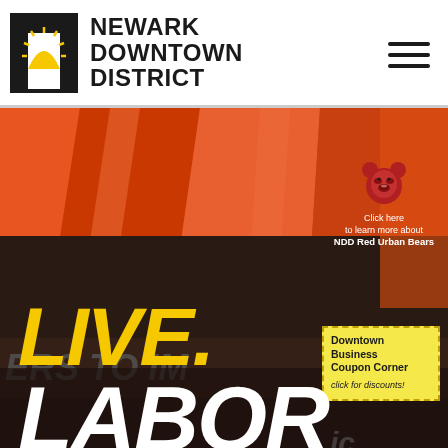[Figure (logo): Newark Downtown District logo — black letter N with yellow sunrise arc, with text NEWARK DOWNTOWN DISTRICT in bold black]
[Figure (photo): Photograph of an orange market tent canopy with text overlays and bear figurine. Background shows banners reading POWERS TO EMPOWER. Red urban bear sculpture visible. Yellow coupon corner box overlay. Large yellow italic LIVE. text and white LABOR text at bottom.]
Click here to learn more about NDD Red Urban Bears
Downtown Business Coupon Corner click for discounts!
LIVE.
LABOR